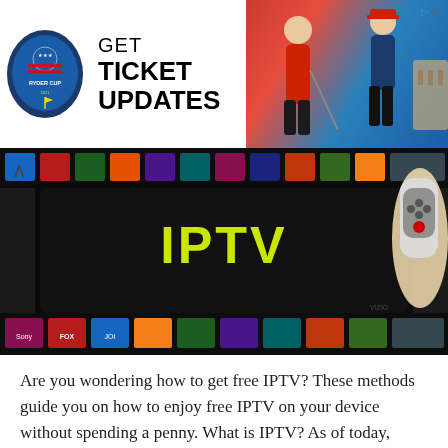[Figure (screenshot): Ryder Cup advertisement banner with logo and 'GET TICKET UPDATES' text, and golfer photos on the right]
[Figure (screenshot): IPTV promotional image showing a smart TV with IPTV text in green/yellow, surrounded by channel logos, with a hand holding a remote on the right]
Are you wondering how to get free IPTV? These methods guide you on how to enjoy free IPTV on your device without spending a penny. What is IPTV? As of today, Satellite and Cable TV is gradually becoming something of the past. What the world has today due to modern innovation is called Internet Protocol